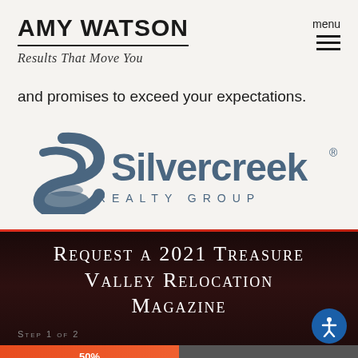AMY WATSON
Results That Move You
and promises to exceed your expectations.
[Figure (logo): Silvercreek Realty Group logo — stylized S icon on left, 'Silvercreek' in large dark blue-grey text, 'REALTY GROUP' in spaced caps below]
Request a 2021 Treasure Valley Relocation Magazine
Step 1 of 2
50%